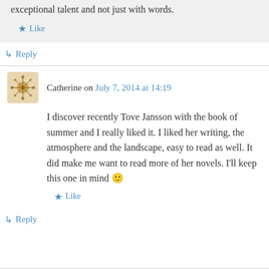exceptional talent and not just with words.
Like
Reply
Catherine on July 7, 2014 at 14:19
I discover recently Tove Jansson with the book of summer and I really liked it. I liked her writing, the atmosphere and the landscape, easy to read as well. It did make me want to read more of her novels. I'll keep this one in mind 🙂
Like
Reply